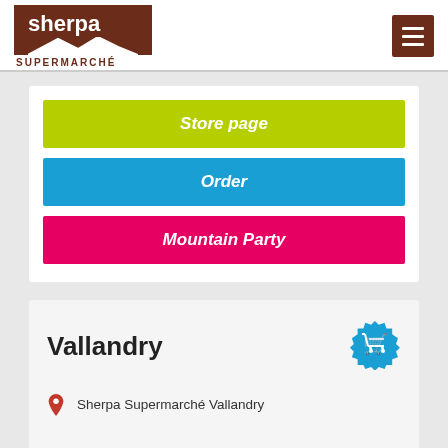[Figure (logo): Sherpa Supermarché logo with brown background and mountain silhouette]
Store page
Order
Mountain Party
Vallandry
Sherpa Supermarché Vallandry
Centre Commercial Les Soldanelles
73210 PEISEY VALLANDRY
+33 (0)479079601